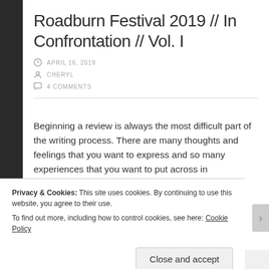Roadburn Festival 2019 // In Confrontation // Vol. I
APRIL 16, 2019
CHERYL
4 COMMENTS
Beginning a review is always the most difficult part of the writing process. There are many thoughts and feelings that you want to express and so many experiences that you want to put across in
Privacy & Cookies: This site uses cookies. By continuing to use this website, you agree to their use.
To find out more, including how to control cookies, see here: Cookie Policy
Close and accept